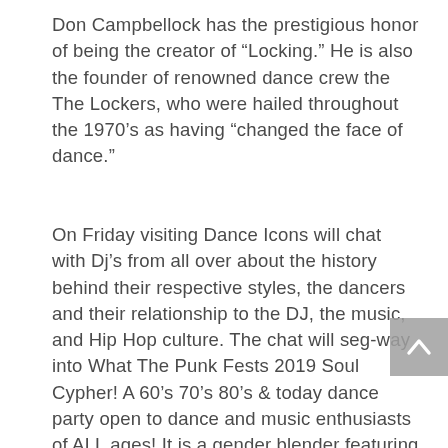Don Campbellock has the prestigious honor of being the creator of “Locking.” He is also the founder of renowned dance crew the The Lockers, who were hailed throughout the 1970’s as having “changed the face of dance.”
On Friday visiting Dance Icons will chat with Dj’s from all over about the history behind their respective styles, the dancers and their relationship to the DJ, the music, and Hip Hop culture. The chat will seg-way into What The Punk Fests 2019 Soul Cypher! A 60’s 70’s 80’s & today dance party open to dance and music enthusiasts of ALL ages! It is a gender blender featuring amazing DJ’s, cyphers, celebrity appearances, performances, giveaways and more! All proceeds from this event go
[Figure (other): A grey semi-transparent scroll-to-top button with an upward-pointing chevron arrow, positioned in the lower-right area of the page.]